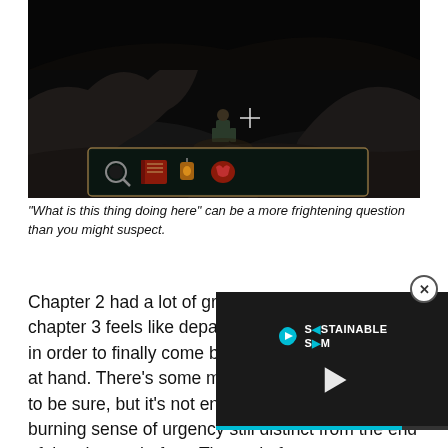[Figure (screenshot): Dark video game scene showing a character in a shadowy environment with a crosshair cursor visible, and an inventory bar at the bottom showing items including a magnifying glass, a book, a lantern, and a red item.]
“What is this thing doing here” can be a more frightening question than you might suspect.
Chapter 2 had a lot of great sto this? Sadly, chapter 3 feels like department, stringing us along in order to finally come back to the grander matter at hand. There’s some mystery within Old Nichol, to be sure, but it’s not enough to satisfy the burning sense of urgency still distinct from the end of the chapter before. The end of